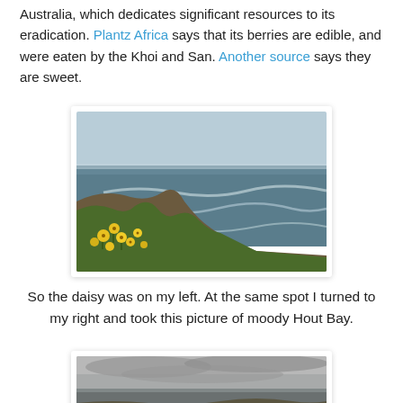Australia, which dedicates significant resources to its eradication. Plantz Africa says that its berries are edible, and were eaten by the Khoi and San. Another source says they are sweet.
[Figure (photo): Coastal cliffside scene with yellow daisy flowers in the foreground and the ocean with waves visible in the background under a pale blue sky.]
So the daisy was on my left. At the same spot I turned to my right and took this picture of moody Hout Bay.
[Figure (photo): Moody overcast view of Hout Bay with grey skies and dark water, partially visible at the bottom of the page.]